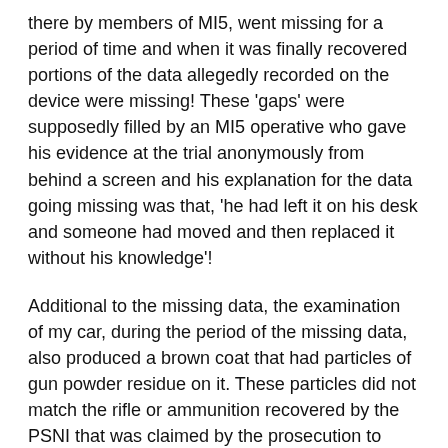there by members of MI5, went missing for a period of time and when it was finally recovered portions of the data allegedly recorded on the device were missing! These 'gaps' were supposedly filled by an MI5 operative who gave his evidence at the trial anonymously from behind a screen and his explanation for the data going missing was that, 'he had left it on his desk and someone had moved and then replaced it without his knowledge'!
Additional to the missing data, the examination of my car, during the period of the missing data, also produced a brown coat that had particles of gun powder residue on it. These particles did not match the rifle or ammunition recovered by the PSNI that was claimed by the prosecution to have been the weapon that fired the fatal shot which killed Constable Carroll. This coat, which was a central piece of evidence in the case, not only did not belong to me but it had no physical connection to me, that is, no traces of my DNA, fibres or fingerprints were found on